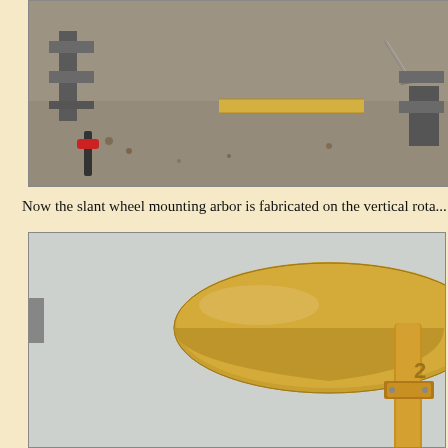[Figure (photo): Workshop photo showing metalworking setup with clamps, a drill bit, and a gold/brass cylindrical rod on a metal surface with wood shavings]
Now the slant wheel mounting arbor is fabricated on the vertical rota...
[Figure (photo): Close-up photo of a large brass gear wheel (slant wheel) mounted on a brass arbor/shaft, viewed from below at an angle showing the knurled edge of the wheel and the mounting mechanism]